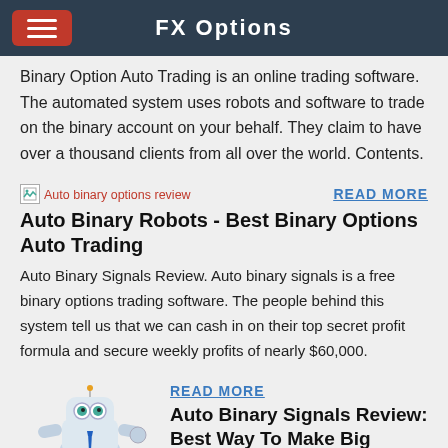FX Options
Binary Option Auto Trading is an online trading software. The automated system uses robots and software to trade on the binary account on your behalf. They claim to have over a thousand clients from all over the world. Contents.
[Figure (other): Broken image placeholder labeled 'Auto binary options review']
READ MORE
Auto Binary Robots - Best Binary Options Auto Trading
Auto Binary Signals Review. Auto binary signals is a free binary options trading software. The people behind this system tell us that we can cash in on their top secret profit formula and secure weekly profits of nearly $60,000.
[Figure (illustration): Robot character illustration labeled BinaryOptionRobot]
READ MORE
Auto Binary Signals Review: Best Way To Make Big Money